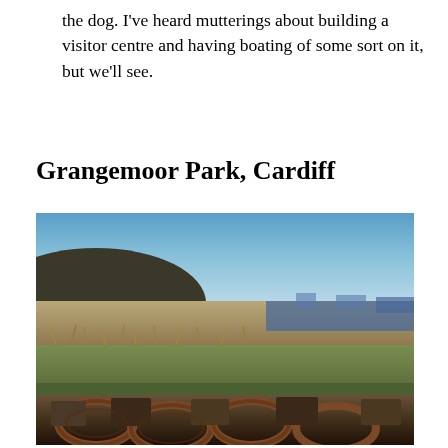the dog. I've heard mutterings about building a visitor centre and having boating of some sort on it, but we'll see.
Grangemoor Park, Cardiff
[Figure (photo): Outdoor landscape photo taken at Grangemoor Park, Cardiff. Shows a wide open view with a clear blue sky, a dark hill on the left, industrial buildings and flat terrain in the middle distance, dry scrubby grassland, and large rusty chain links in the foreground.]